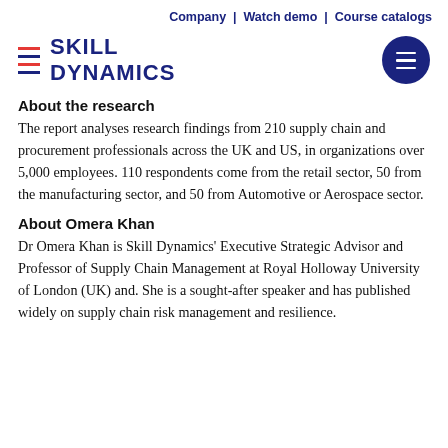Company | Watch demo | Course catalogs
[Figure (logo): Skill Dynamics logo with red and navy horizontal lines and hamburger menu button]
About the research
The report analyses research findings from 210 supply chain and procurement professionals across the UK and US, in organizations over 5,000 employees. 110 respondents come from the retail sector, 50 from the manufacturing sector, and 50 from Automotive or Aerospace sector.
About Omera Khan
Dr Omera Khan is Skill Dynamics' Executive Strategic Advisor and Professor of Supply Chain Management at Royal Holloway University of London (UK) and. She is a sought-after speaker and has published widely on supply chain risk management and resilience.